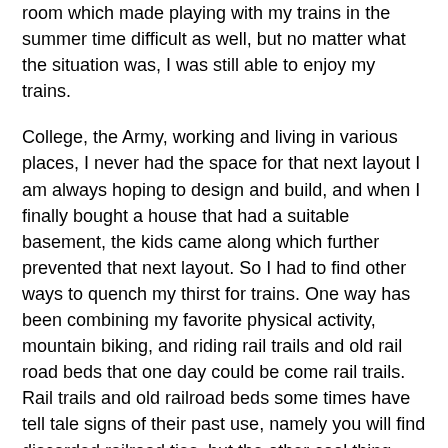room which made playing with my trains in the summer time difficult as well, but no matter what the situation was, I was still able to enjoy my trains.
College, the Army, working and living in various places, I never had the space for that next layout I am always hoping to design and build, and when I finally bought a house that had a suitable basement, the kids came along which further prevented that next layout. So I had to find other ways to quench my thirst for trains. One way has been combining my favorite physical activity, mountain biking, and riding rail trails and old rail road beds that one day could be come rail trails. Rail trails and old railroad beds some times have tell tale signs of their past use, namely you will find discarded railroad ties, but the other cool thing about them is the structural engineering that went into building them. Reading and researching these old lines has become my new railroading hobby and then if the opportunity presents itself actually visiting the railroad bed and riding it on my bike. In a way, its like riding the train itself.
One such railroad bed that I have been fascinated with for